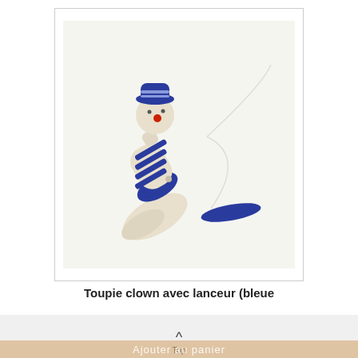[Figure (photo): A wooden clown spinning top toy in blue and white stripes, shaped like a sailor/clown figure, lying on its side with a string launcher mechanism — a separate blue disc launcher connected by a white cord.]
Toupie clown avec lanceur (bleue
€6.50
Top